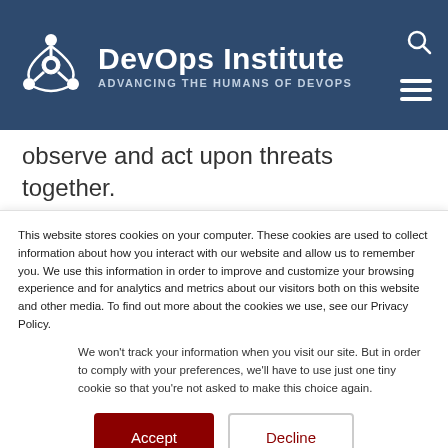[Figure (logo): DevOps Institute logo with gear/network icon and text 'DevOps Institute — ADVANCING THE HUMANS OF DEVOPS' on dark blue header background]
observe and act upon threats together.
A study by Ponemon in June of 2018 found that 55 percent of IT operations and 60
This website stores cookies on your computer. These cookies are used to collect information about how you interact with our website and allow us to remember you. We use this information in order to improve and customize your browsing experience and for analytics and metrics about our visitors both on this website and other media. To find out more about the cookies we use, see our Privacy Policy.
We won't track your information when you visit our site. But in order to comply with your preferences, we'll have to use just one tiny cookie so that you're not asked to make this choice again.